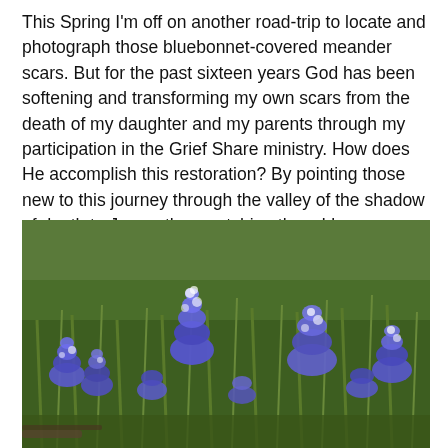This Spring I'm off on another road-trip to locate and photograph those bluebonnet-covered meander scars. But for the past sixteen years God has been softening and transforming my own scars from the death of my daughter and my parents through my participation in the Grief Share ministry. How does He accomplish this restoration? By pointing those new to this journey through the valley of the shadow of death to Jesus, then watching them blossom as He heals and transforms them too.
[Figure (photo): A field of bluebonnet wildflowers (Texas state flower) in bloom, with blue and purple flower spikes rising above green grass and stems. The photo is taken at ground level looking across a dense meadow of bluebonnets.]